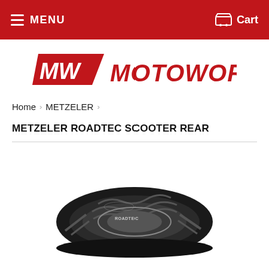MENU  Cart
[Figure (logo): Motoworld logo in red with stylized MW emblem and MOTOWORLD text]
Home › METZELER ›
METZELER ROADTEC SCOOTER REAR
[Figure (photo): Close-up photo of a Metzeler Roadtec Scooter rear tire showing tread pattern, black and white image]